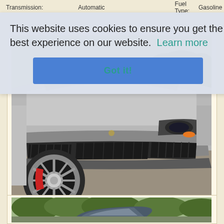Transmission: Automatic    Fuel Type: Gasoline
This website uses cookies to ensure you get the best experience on our website. Learn more
Got it!
[Figure (photo): Close-up front view of a silver Porsche sports car with red brake calipers, showing the front bumper, wheel, and headlight, parked on pavement with trees in background]
[Figure (photo): Rear view of a dark blue/grey Porsche sedan parked outdoors with trees and greenery in the background]